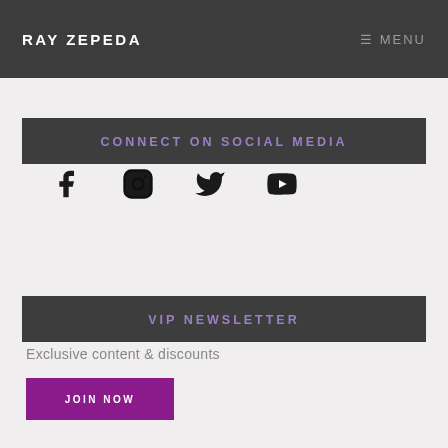RAY ZEPEDA  ≡ MENU
CONNECT ON SOCIAL MEDIA
[Figure (infographic): Four social media icons: Facebook, Instagram, Twitter, YouTube]
VIP NEWSLETTER
Exclusive content & discounts
JOIN NOW